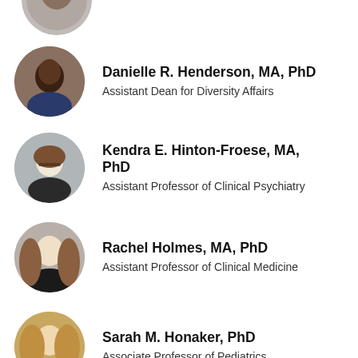[Figure (photo): Partial circular photo of a person at the top of the page, cropped]
Danielle R. Henderson, MA, PhD
Assistant Dean for Diversity Affairs
[Figure (photo): Circular headshot of Kendra E. Hinton-Froese, woman with glasses and long brown hair]
Kendra E. Hinton-Froese, MA, PhD
Assistant Professor of Clinical Psychiatry
[Figure (photo): Circular headshot of Rachel Holmes, woman with brown hair]
Rachel Holmes, MA, PhD
Assistant Professor of Clinical Medicine
[Figure (photo): Circular headshot of Sarah M. Honaker, woman with blonde hair]
Sarah M. Honaker, PhD
Associate Professor of Pediatrics